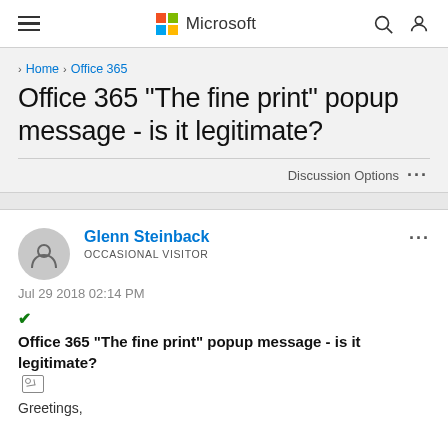Microsoft
> Home > Office 365
Office 365 "The fine print" popup message - is it legitimate?
Discussion Options ...
Glenn Steinback
OCCASIONAL VISITOR
Jul 29 2018 02:14 PM
✔ Office 365 "The fine print" popup message - is it legitimate? [image]
Greetings,